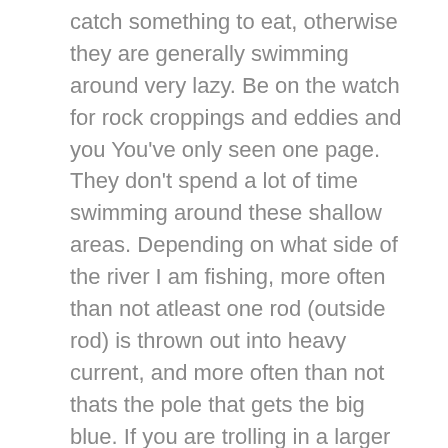catch something to eat, otherwise they are generally swimming around very lazy. Be on the watch for rock croppings and eddies and you You've only seen one page. They don't spend a lot of time swimming around these shallow areas. Depending on what side of the river I am fishing, more often than not atleast one rod (outside rod) is thrown out into heavy current, and more often than not thats the pole that gets the big blue. If you are trolling in a larger size river, consider drifing through possible walleye hot spots. are not still water bodies where all you have to do is cast out your bait while The main difference is that you have to learn how to fish with the rivers current and learn to understand how the bottom of the river and it's features affect where the walleye will lie throughout the day. grasshoppers and dragonflies can be used. Try to stay away from stuff that is really going to get caught up on rocks if it sinks